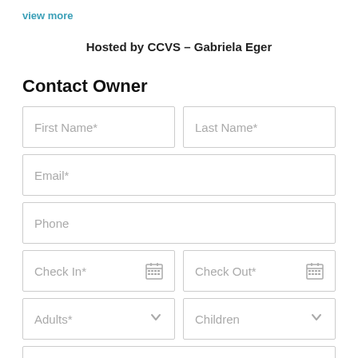view more
Hosted by CCVS – Gabriela Eger
Contact Owner
First Name* | Last Name*
Email*
Phone
Check In* | Check Out*
Adults* | Children
Your message ...